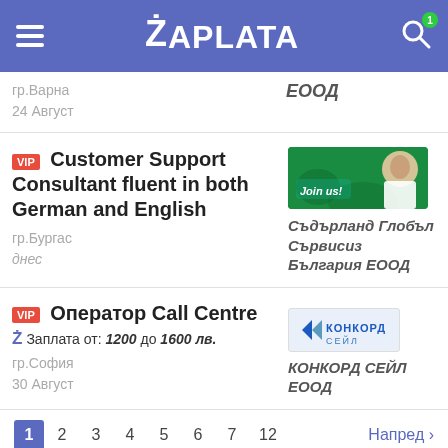ZAPLATA
гр.Варна
24 Август
ЕООД
VIP Customer Support Consultant fluent in both German and English
гр.Бургас
днес
[Figure (photo): Sutherland Global Services Bulgaria company logo/banner with green background and employee]
Съдърланд Глобъл Сървисиз България ЕООД
VIP Оператор Call Centre
Заплата от: 1200 до 1600 лв.
гр.София
30 Август
[Figure (logo): КОНКОРД СЕЙЛ ЕООД company logo with KC letters]
КОНКОРД СЕЙЛ ЕООД
1 2 3 4 5 6 7 12 Напред ›
Полезни статии